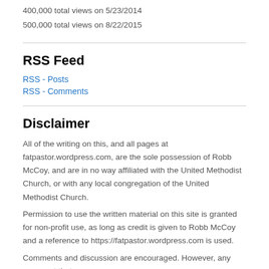400,000 total views on 5/23/2014
500,000 total views on 8/22/2015
RSS Feed
RSS - Posts
RSS - Comments
Disclaimer
All of the writing on this, and all pages at fatpastor.wordpress.com, are the sole possession of Robb McCoy, and are in no way affiliated with the United Methodist Church, or with any local congregation of the United Methodist Church.
Permission to use the written material on this site is granted for non-profit use, as long as credit is given to Robb McCoy and a reference to https://fatpastor.wordpress.com is used.
Comments and discussion are encouraged. However, any comment that